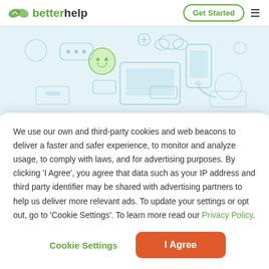betterhelp — Get Started
[Figure (illustration): Light blue hero background with faint line-art illustrations of a person with chat bubbles, computer screens, and a hand holding a smartphone — representing online therapy/communication concepts.]
We use our own and third-party cookies and web beacons to deliver a faster and safer experience, to monitor and analyze usage, to comply with laws, and for advertising purposes. By clicking 'I Agree', you agree that data such as your IP address and third party identifier may be shared with advertising partners to help us deliver more relevant ads. To update your settings or opt out, go to 'Cookie Settings'. To learn more read our Privacy Policy.
Cookie Settings
I Agree